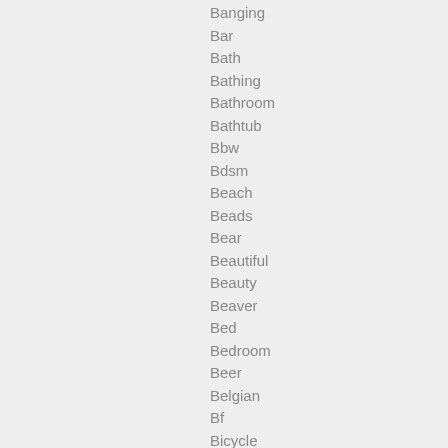Banging
Bar
Bath
Bathing
Bathroom
Bathtub
Bbw
Bdsm
Beach
Beads
Bear
Beautiful
Beauty
Beaver
Bed
Bedroom
Beer
Belgian
Bf
Bicycle
Big Ass
Big Boobs
Big Clit